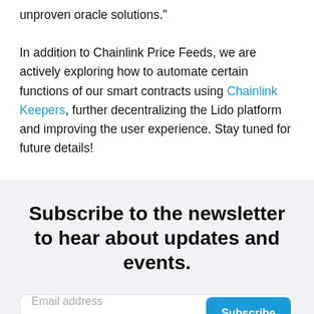unproven oracle solutions."

In addition to Chainlink Price Feeds, we are actively exploring how to automate certain functions of our smart contracts using Chainlink Keepers, further decentralizing the Lido platform and improving the user experience. Stay tuned for future details!
Subscribe to the newsletter to hear about updates and events.